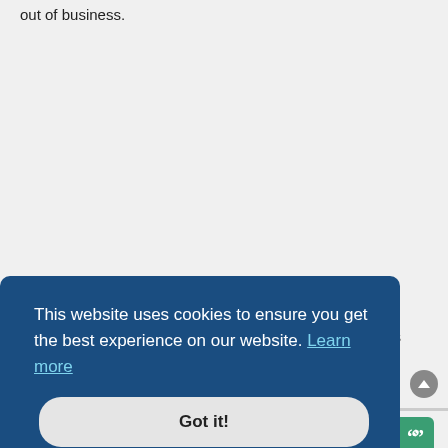out of business.
in England we go lobster fishing in nothing but arm bands and a wooly jumper ,we are tough like that 😎 😎
fisher
This website uses cookies to ensure you get the best experience on our website. Learn more
Got it!
I don't know why I'm so interested in this, guess I just wonder if men would